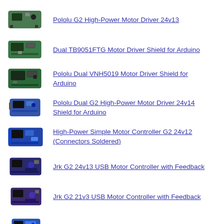Pololu G2 High-Power Motor Driver 24v13
Dual TB9051FTG Motor Driver Shield for Arduino
Pololu Dual VNH5019 Motor Driver Shield for Arduino
Pololu Dual G2 High-Power Motor Driver 24v14 Shield for Arduino
High-Power Simple Motor Controller G2 24v12 (Connectors Soldered)
Jrk G2 24v13 USB Motor Controller with Feedback
Jrk G2 21v3 USB Motor Controller with Feedback
Pololu Qik 2s15v9 Dual Serial Motor Controller